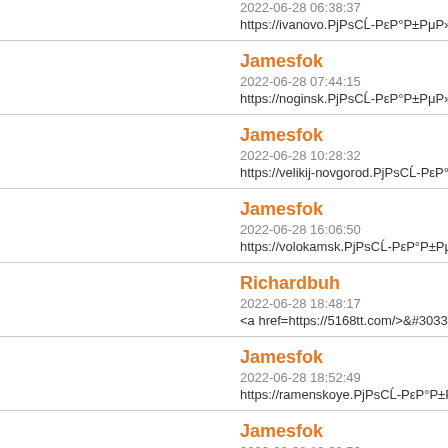2022-06-28 06:38:37
https://ivanovo.PjPsCĹ-PεP°P±PμP»CЬ.
Jamesfok
2022-06-28 07:44:15
https://noginsk.PjPsCĹ-PεP°P±PμP»CЬ.
Jamesfok
2022-06-28 10:28:32
https://velikij-novgorod.PjPsCĹ-PεP°P±P
Jamesfok
2022-06-28 16:06:50
https://volokamsk.PjPsCĹ-PεP°P±PμP»CI
Richardbuh
2022-06-28 18:48:17
<a href=https://5168tt.com/>&#30334;&#2
Jamesfok
2022-06-28 18:52:49
https://ramenskoye.PjPsCĹ-PεP°P±PμP»
Jamesfok
2022-06-28 19:38:56
https://yaxroma.PjPsCĹ-PεP°P±PμP»CH.